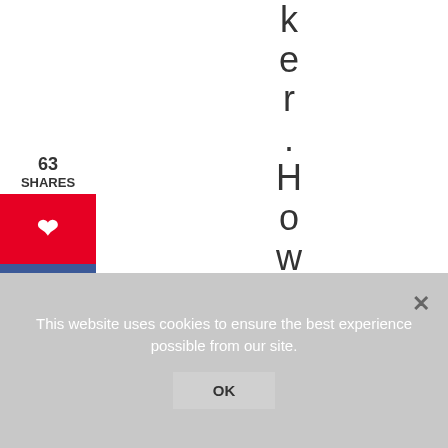k e r . H o w c a n
63 SHARES
[Figure (infographic): Social sharing widget with Pinterest (red), Facebook (blue), and Email (green) buttons]
This website uses cookies to ensure the best experience possible from our site.
OK